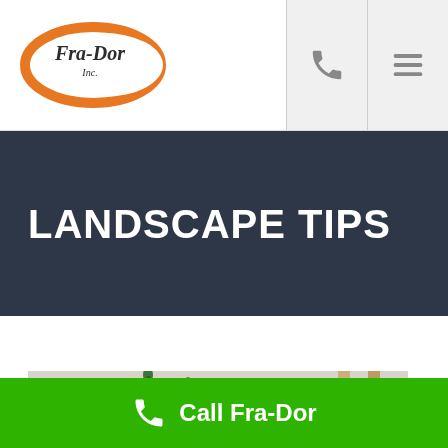Fra-Dor Inc. — header with logo, phone icon, and menu icon
LANDSCAPE TIPS
[Figure (photo): Partial view of potted green plants against a light background with a wooden ladder visible on the right side]
Call Fra-Dor